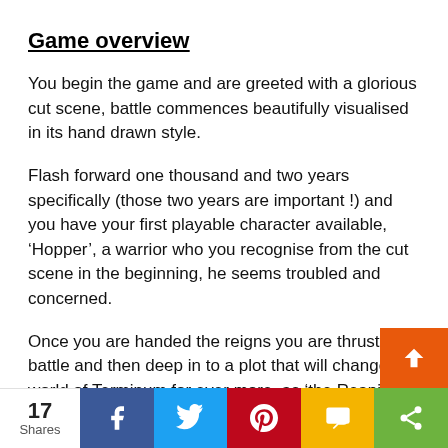Game overview
You begin the game and are greeted with a glorious cut scene, battle commences beautifully visualised in its hand drawn style.
Flash forward one thousand and two years specifically (those two years are important !) and you have your first playable character available, ‘Hopper’, a warrior who you recognise from the cut scene in the beginning, he seems troubled and concerned.
Once you are handed the reigns you are thrust in to battle and then deep in to a plot that will change the world of Terminum for ever more, as ‘the Reaping’ once again returned to threaten you all.
17 Shares | Facebook | Twitter | Pinterest | SMS | Share